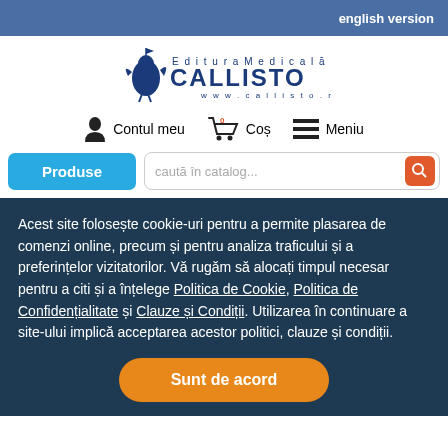english version
[Figure (logo): Editura Medicală CALLISTO logo with bird figure, www.callisto.ro]
Contul meu   0  Coș   Meniu
Produse   caută în catalog...
Acest site folosește cookie-uri pentru a permite plasarea de comenzi online, precum și pentru analiza traficului și a preferințelor vizitatorilor. Vă rugăm să alocați timpul necesar pentru a citi și a înțelege Politica de Cookie, Politica de Confidențialitate și Clauze și Condiții. Utilizarea în continuare a site-ului implică acceptarea acestor politici, clauze și condiții.
Sunt de acord